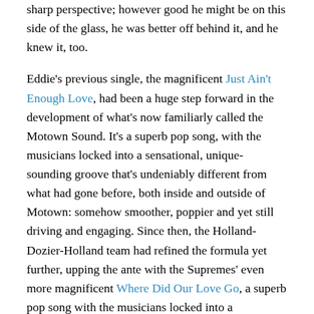sharp perspective; however good he might be on this side of the glass, he was better off behind it, and he knew it, too.

Eddie's previous single, the magnificent Just Ain't Enough Love, had been a huge step forward in the development of what's now familiarly called the Motown Sound. It's a superb pop song, with the musicians locked into a sensational, unique-sounding groove that's undeniably different from what had gone before, both inside and outside of Motown: somehow smoother, poppier and yet still driving and engaging. Since then, the Holland-Dozier-Holland team had refined the formula yet further, upping the ante with the Supremes' even more magnificent Where Did Our Love Go, a superb pop song with the musicians locked into a sensational, unique-sounding groove etc etc. So when you see the H-D-H team writing this brand-new